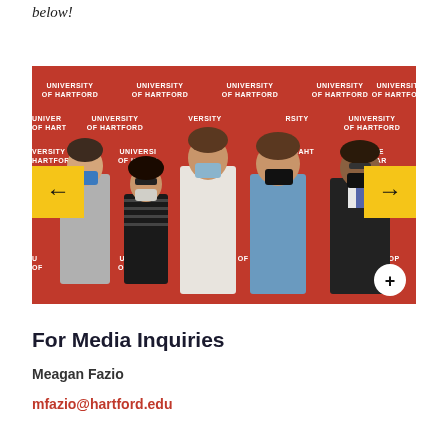below!
[Figure (photo): Five people wearing face masks standing in front of a red University of Hartford branded backdrop. Left and right yellow arrow navigation buttons are visible, along with a plus button in the bottom right corner.]
For Media Inquiries
Meagan Fazio
mfazio@hartford.edu